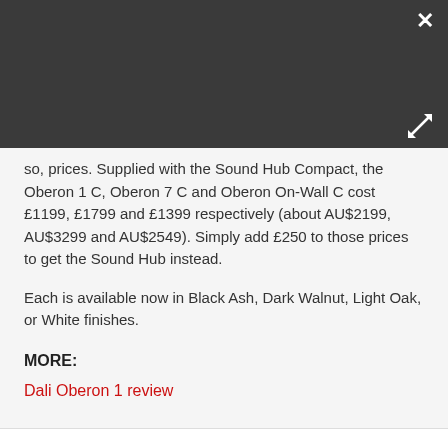[Figure (screenshot): Dark gray header bar of a modal/lightbox overlay with a white close (×) button in the top-right corner and an expand/fullscreen icon in the lower-right area of the header.]
so, prices. Supplied with the Sound Hub Compact, the Oberon 1 C, Oberon 7 C and Oberon On-Wall C cost £1199, £1799 and £1399 respectively (about AU$2199, AU$3299 and AU$2549). Simply add £250 to those prices to get the Sound Hub instead.
Each is available now in Black Ash, Dark Walnut, Light Oak, or White finishes.
MORE:
Dali Oberon 1 review